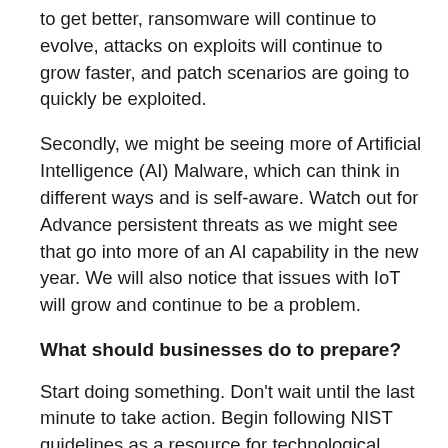to get better, ransomware will continue to evolve, attacks on exploits will continue to grow faster, and patch scenarios are going to quickly be exploited.
Secondly, we might be seeing more of Artificial Intelligence (AI) Malware, which can think in different ways and is self-aware. Watch out for Advance persistent threats as we might see that go into more of an AI capability in the new year. We will also notice that issues with IoT will grow and continue to be a problem.
What should businesses do to prepare?
Start doing something. Don't wait until the last minute to take action. Begin following NIST guidelines as a resource for technological advancement and security and implement those guidelines to mitigate control. If you do not understand them, then work with a security expert or partner with someone who does to ensure that you are